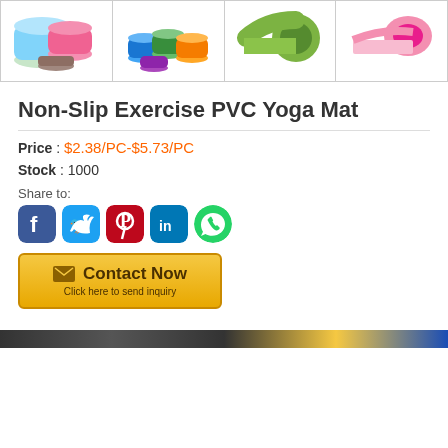[Figure (photo): Four product thumbnail images of yoga mats in various colors arranged in a row]
Non-Slip Exercise PVC Yoga Mat
Price : $2.38/PC-$5.73/PC
Stock : 1000
Share to:
[Figure (infographic): Social media share icons: Facebook, Twitter, Pinterest, LinkedIn, WhatsApp]
[Figure (infographic): Contact Now button - Click here to send inquiry]